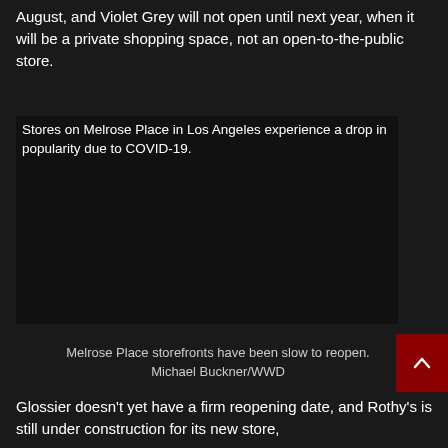August, and Violet Grey will not open until next year, when it will be a private shopping space, not an open-to-the-public store.
[Figure (photo): Stores on Melrose Place in Los Angeles experience a drop in popularity due to COVID-19. Image shown as broken image with alt text visible.]
Melrose Place storefronts have been slow to reopen. Michael Buckner/WWD
Glossier doesn't yet have a firm reopening date, and Rothy's is still under construction for its new store,